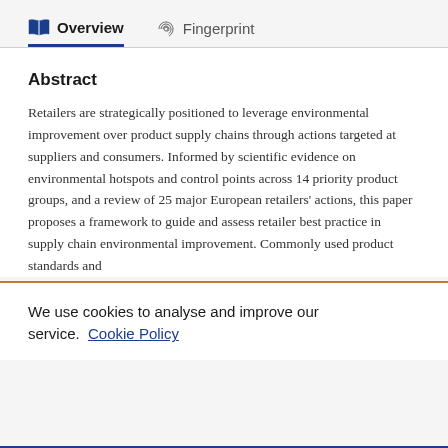Overview   Fingerprint
Abstract
Retailers are strategically positioned to leverage environmental improvement over product supply chains through actions targeted at suppliers and consumers. Informed by scientific evidence on environmental hotspots and control points across 14 priority product groups, and a review of 25 major European retailers' actions, this paper proposes a framework to guide and assess retailer best practice in supply chain environmental improvement. Commonly used product standards and
We use cookies to analyse and improve our service.  Cookie Policy